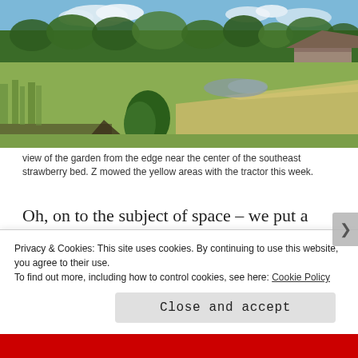[Figure (photo): Outdoor garden photograph showing a field with green plants, mowed yellow grass areas, trees in the background, and a wooden shed on the right side under a partly cloudy blue sky.]
view of the garden from the edge near the center of the southeast strawberry bed. Z mowed the yellow areas with the tractor this week.
Oh, on to the subject of space – we put a silage tarp on an area where I could put 3 or 4 beds of greens
Privacy & Cookies: This site uses cookies. By continuing to use this website, you agree to their use.
To find out more, including how to control cookies, see here: Cookie Policy

Close and accept